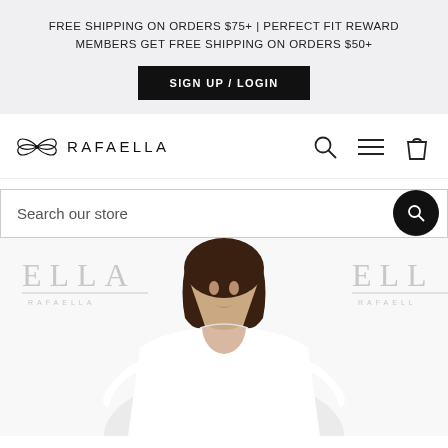FREE SHIPPING ON ORDERS $75+ | PERFECT FIT REWARD MEMBERS GET FREE SHIPPING ON ORDERS $50+
SIGN UP / LOGIN
[Figure (logo): Rafaella brand logo with decorative butterfly/bow icon and text RAFAELLA]
[Figure (screenshot): Navigation icons: search magnifying glass, hamburger menu lines, shopping bag]
Search our store
[Figure (photo): Woman wearing white long-sleeve top with bateau neckline, with ELLA RAFAELLA brand watermark visible on left and right sides]